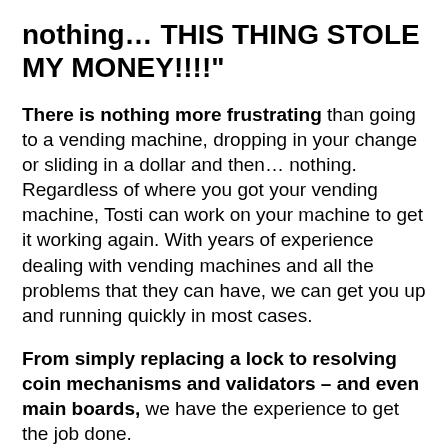nothing… THIS THING STOLE MY MONEY!!!!"
There is nothing more frustrating than going to a vending machine, dropping in your change or sliding in a dollar and then… nothing. Regardless of where you got your vending machine, Tosti can work on your machine to get it working again. With years of experience dealing with vending machines and all the problems that they can have, we can get you up and running quickly in most cases.
From simply replacing a lock to resolving coin mechanisms and validators – and even main boards, we have the experience to get the job done.